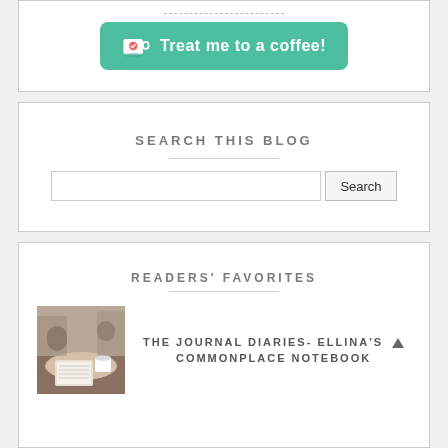[Figure (other): Teal/green button with coffee cup icon and text 'Treat me to a coffee!']
SEARCH THIS BLOG
[Figure (screenshot): Search input box with Search button]
READERS' FAVORITES
[Figure (photo): Thumbnail photo of a journal/notebook on a cafe table]
THE JOURNAL DIARIES- ELLINA'S COMMONPLACE NOTEBOOK